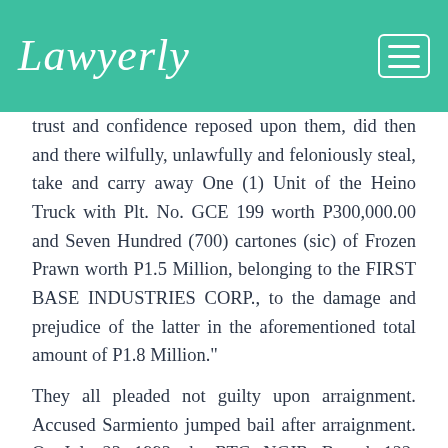Lawyerly
trust and confidence reposed upon them, did then and there wilfully, unlawfully and feloniously steal, take and carry away One (1) Unit of the Heino Truck with Plt. No. GCE 199 worth P300,000.00 and Seven Hundred (700) cartones (sic) of Frozen Prawn worth P1.5 Million, belonging to the FIRST BASE INDUSTRIES CORP., to the damage and prejudice of the latter in the aforementioned total amount of P1.8 Million."
They all pleaded not guilty upon arraignment. Accused Sarmiento jumped bail after arraignment. On July 23, 1993, the RTC, NCJR, Branch 122, Caloocan City,[1]